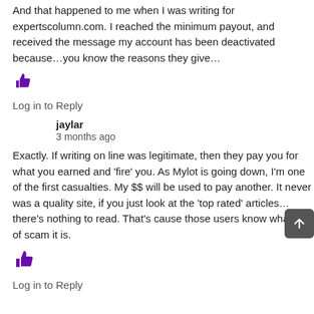And that happened to me when I was writing for expertscolumn.com. I reached the minimum payout, and received the message my account has been deactivated because…you know the reasons they give…
[Figure (other): Purple thumbs up icon]
Log in to Reply
jaylar
3 months ago
Exactly. If writing on line was legitimate, then they pay you for what you earned and 'fire' you. As Mylot is going down, I'm one of the first casualties. My $$ will be used to pay another. It never was a quality site, if you just look at the 'top rated' articles… there's nothing to read. That's cause those users know what kind of scam it is.
[Figure (other): Purple thumbs up icon]
Log in to Reply